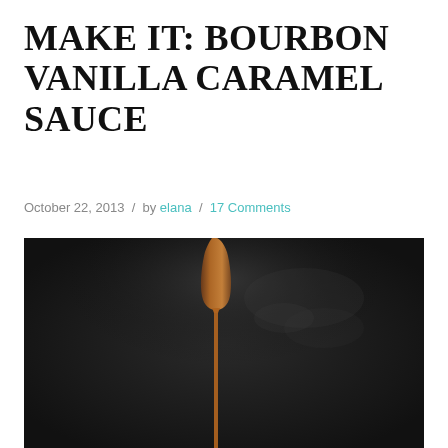MAKE IT: BOURBON VANILLA CARAMEL SAUCE
October 22, 2013  /  by elana  /  17 Comments
[Figure (photo): Dark background photograph showing a thin stream of caramel sauce drizzling downward, the sauce is a warm amber/golden-brown color against an almost black background with subtle light wisps.]